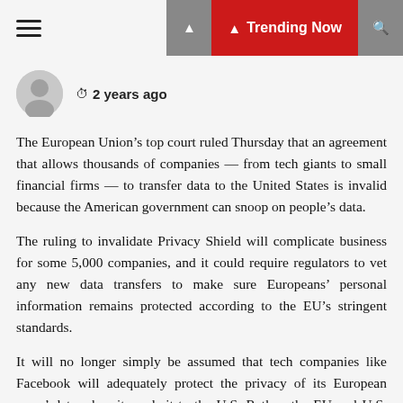Trending Now
🕐 2 years ago
The European Union's top court ruled Thursday that an agreement that allows thousands of companies — from tech giants to small financial firms — to transfer data to the United States is invalid because the American government can snoop on people's data.
The ruling to invalidate Privacy Shield will complicate business for some 5,000 companies, and it could require regulators to vet any new data transfers to make sure Europeans' personal information remains protected according to the EU's stringent standards.
It will no longer simply be assumed that tech companies like Facebook will adequately protect the privacy of its European users' data when it sends it to the U.S. Rather, the EU and U.S. will likely have to find a new agreement that guarantees that Europeans' data is afforded the...